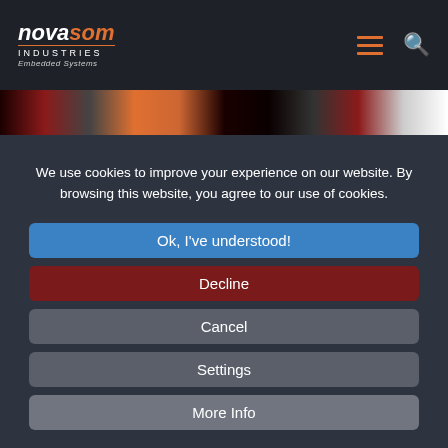Novasom Industries – Embedded Systems
[Figure (photo): Decorative image strip showing colored segments: dark red, olive, orange, dark/black, dark red, white]
We use cookies to improve your experience on our website. By browsing this website, you agree to our use of cookies.
Ok, I've understood!
Decline
Cancel
Settings
More Info